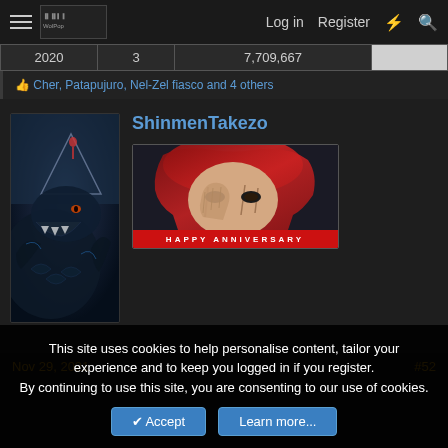Log in  Register
| 2020 | 3 | 7,709,667 |  |
Cher, Patapujuro, Nel-Zel fiasco and 4 others
ShinmenTakezo
[Figure (illustration): Anime-style avatar image showing a dark fantasy scene with a large dragon creature and a figure in the background against a stormy sky]
[Figure (illustration): Banner image showing an anime character with red hair and a serious expression, with text 'HAPPY ANNIVERSARY' at the bottom on a red bar]
Nov 29, 2021
#52
This site uses cookies to help personalise content, tailor your experience and to keep you logged in if you register.
By continuing to use this site, you are consenting to our use of cookies.
Accept  Learn more...